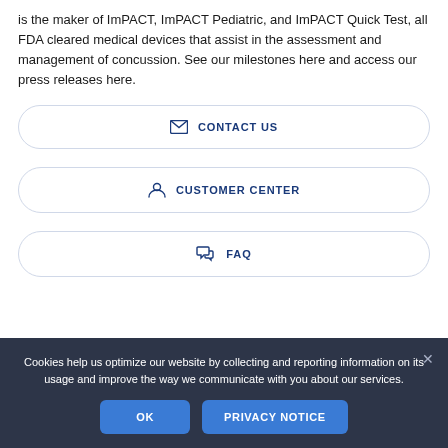is the maker of ImPACT, ImPACT Pediatric, and ImPACT Quick Test, all FDA cleared medical devices that assist in the assessment and management of concussion. See our milestones here and access our press releases here.
CONTACT US
CUSTOMER CENTER
FAQ
Cookies help us optimize our website by collecting and reporting information on its usage and improve the way we communicate with you about our services.
OK   PRIVACY NOTICE